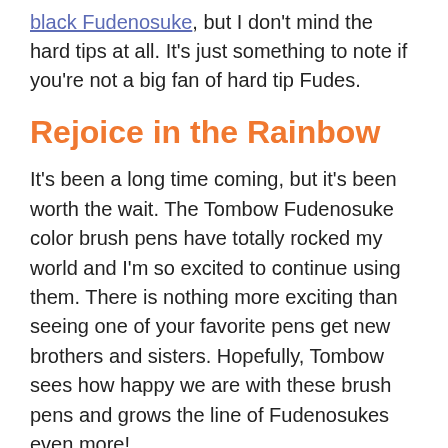black Fudenosuke, but I don't mind the hard tips at all. It's just something to note if you're not a big fan of hard tip Fudes.
Rejoice in the Rainbow
It's been a long time coming, but it's been worth the wait. The Tombow Fudenosuke color brush pens have totally rocked my world and I'm so excited to continue using them. There is nothing more exciting than seeing one of your favorite pens get new brothers and sisters. Hopefully, Tombow sees how happy we are with these brush pens and grows the line of Fudenosukes even more!